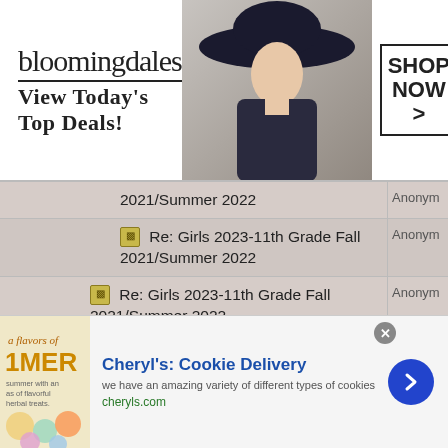[Figure (screenshot): Bloomingdales advertisement banner: logo, 'View Today's Top Deals!' tagline, model photo, and 'SHOP NOW >' button]
| Thread | User |
| --- | --- |
| Re: Girls 2023-11th Grade Fall 2021/Summer 2022 (continued) | Anonym |
| Re: Girls 2023-11th Grade Fall 2021/Summer 2022 | Anonym |
| Re: Girls 2023-11th Grade Fall 2021/Summer 2022 | Anonym |
| Re: Girls 2023-11th Grade Fall 2021/Summer 2022 | Anonym |
| Re: Girls 2023-11th Grade Fall 2021/Summer 2022 | Anonym |
| Re: Girls 2023-11th Grade Fall 2021/Summer 2022 | Anonym |
| Re: Girls 2023-11th Grade Fall 2021/Summer 2022 | Anonym |
[Figure (screenshot): Cheryl's Cookie Delivery advertisement: thumbnail image of cookies, title, description 'we have an amazing variety of different types of cookies', cheryls.com URL, and blue arrow button]